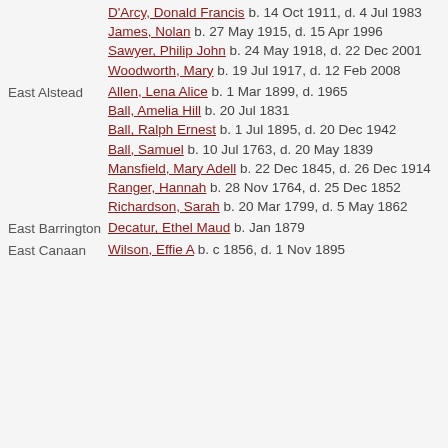D'Arcy, Donald Francis  b. 14 Oct 1911, d. 4 Jul 1983
James, Nolan  b. 27 May 1915, d. 15 Apr 1996
Sawyer, Philip John  b. 24 May 1918, d. 22 Dec 2001
Woodworth, Mary  b. 19 Jul 1917, d. 12 Feb 2008
East Alstead
Allen, Lena Alice  b. 1 Mar 1899, d. 1965
Ball, Amelia Hill  b. 20 Jul 1831
Ball, Ralph Ernest  b. 1 Jul 1895, d. 20 Dec 1942
Ball, Samuel  b. 10 Jul 1763, d. 20 May 1839
Mansfield, Mary Adell  b. 22 Dec 1845, d. 26 Dec 1914
Ranger, Hannah  b. 28 Nov 1764, d. 25 Dec 1852
Richardson, Sarah  b. 20 Mar 1799, d. 5 May 1862
East Barrington
Decatur, Ethel Maud  b. Jan 1879
East Canaan
Wilson, Effie A  b. c 1856, d. 1 Nov 1895